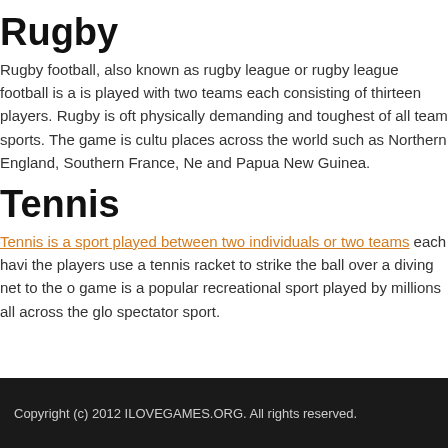Rugby
Rugby football, also known as rugby league or rugby league football is a is played with two teams each consisting of thirteen players. Rugby is oft physically demanding and toughest of all team sports. The game is cultu places across the world such as Northern England, Southern France, Ne and Papua New Guinea.
Tennis
Tennis is a sport played between two individuals or two teams each havi the players use a tennis racket to strike the ball over a diving net to the o game is a popular recreational sport played by millions all across the glo spectator sport.
Copyright (c) 2012 ILOVEGAMES.ORG. All rights reserved.